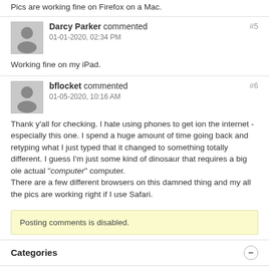Pics are working fine on Firefox on a Mac.
Darcy Parker commented
01-01-2020, 02:34 PM
Working fine on my iPad.
bflocket commented
01-05-2020, 10:16 AM
Thank y'all for checking. I hate using phones to get ion the internet - especially this one. I spend a huge amount of time going back and retyping what I just typed that it changed to something totally different. I guess I'm just some kind of dinosaur that requires a big ole actual "computer" computer.
There are a few different browsers on this damned thing and my all the pics are working right if I use Safari.
Posting comments is disabled.
Categories
Help Support Rock! Shock! Pop!
Music